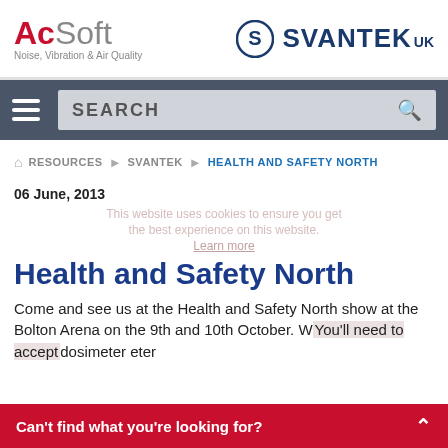[Figure (logo): AcSoft logo with tagline 'Noise, Vibration & Air Quality' and Svantek UK logo with circular S icon]
[Figure (screenshot): Navigation bar with hamburger menu icon and search box]
RESOURCES > SVANTEK > HEALTH AND SAFETY NORTH
06 June, 2013
Health and Safety North
Come and see us at the Health and Safety North show at the Bolton Arena on the 9th and 10th October. W... dosimeter... eter
[Figure (screenshot): Red cookie banner at bottom: Can't find what you're looking for? with caret icon]